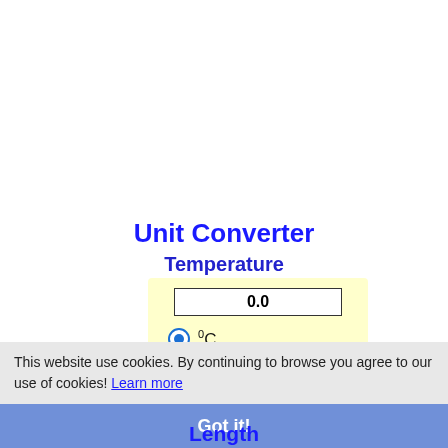Unit Converter
Temperature
[Figure (screenshot): Unit converter app UI: input field showing 0.0, radio buttons for °C and °F, Convert! button]
This website use cookies. By continuing to browse you agree to our use of cookies! Learn more
Got it!
Length